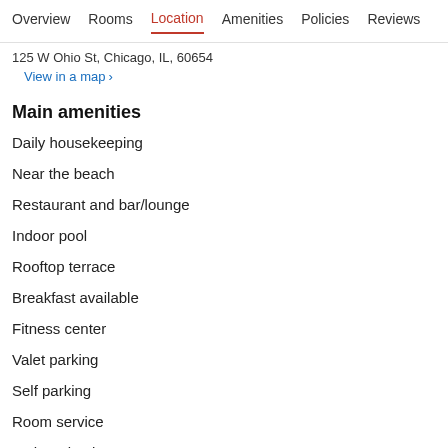Overview  Rooms  Location  Amenities  Policies  Reviews
125 W Ohio St, Chicago, IL, 60654
View in a map  >
Main amenities
Daily housekeeping
Near the beach
Restaurant and bar/lounge
Indoor pool
Rooftop terrace
Breakfast available
Fitness center
Valet parking
Self parking
Room service
24-hour business center
Terrace